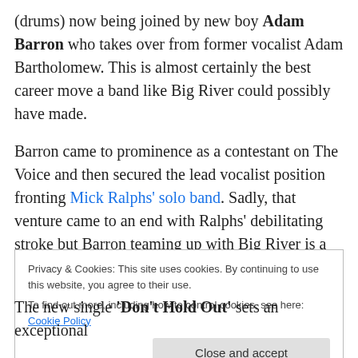(drums) now being joined by new boy Adam Barron who takes over from former vocalist Adam Bartholomew. This is almost certainly the best career move a band like Big River could possibly have made.
Barron came to prominence as a contestant on The Voice and then secured the lead vocalist position fronting Mick Ralphs' solo band. Sadly, that venture came to an end with Ralphs' debilitating stroke but Barron teaming up with Big River is a stroke of genius. One of the finest blues rock singers around these days, Barron is the perfect fit for Big
Privacy & Cookies: This site uses cookies. By continuing to use this website, you agree to their use.
To find out more, including how to control cookies, see here: Cookie Policy
Close and accept
The new single 'Don't Hold Out' sets an exceptional